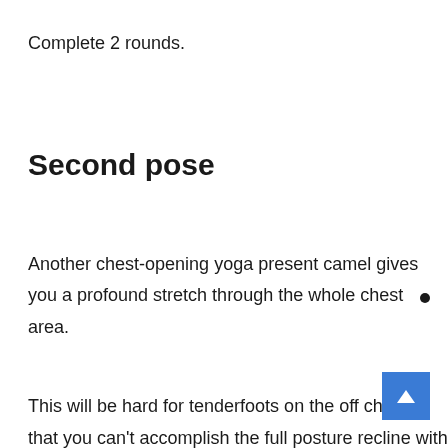Complete 2 rounds.
Second pose
Another chest-opening yoga present camel gives you a profound stretch through the whole chest area.
This will be hard for tenderfoots on the off chance that you can't accomplish the full posture recline with your hands on the rear of your pelvis